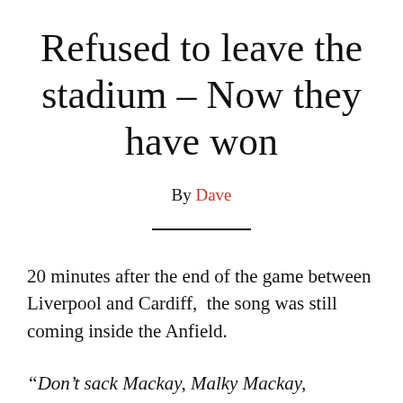Refused to leave the stadium – Now they have won
By Dave
20 minutes after the end of the game between Liverpool and Cardiff,  the song was still coming inside the Anfield.
“Don’t sack Mackay, Malky Mackay,